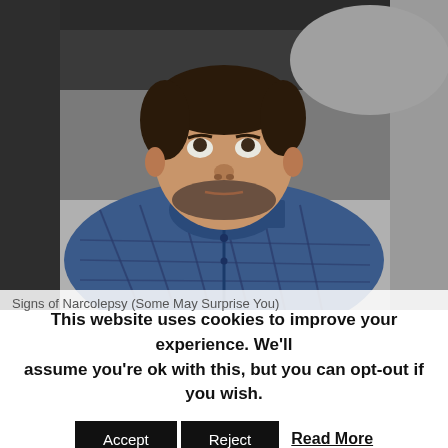[Figure (photo): A man in a blue plaid shirt lying on a bed, looking upward with a tired or worried expression, viewed from above. The photo is taken from an overhead angle showing him lying against gray pillows and bedding.]
Signs of Narcolepsy (Some May Surprise You)
This website uses cookies to improve your experience. We'll assume you're ok with this, but you can opt-out if you wish.
Accept   Reject   Read More